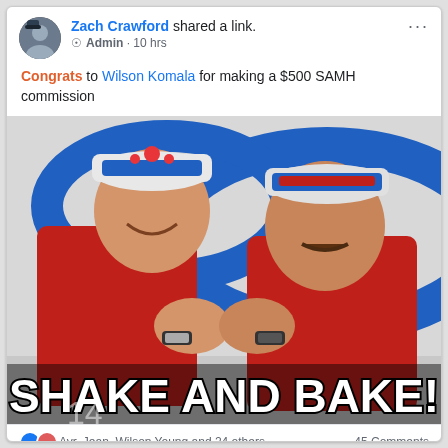Zach Crawford shared a link. Admin · 10 hrs
Congrats to Wilson Komala for making a $500 SAMH commission
[Figure (photo): Two men in red shirts doing a fist bump, wearing baseball caps (Wonder Bread and Old Spice). Text overlay at bottom reads 'SHAKE AND BAKE!' in large bold white letters with black outline. Background has blue swoosh logo.]
Ayr, Jean, Wilson Young and 24 others    45 Comments